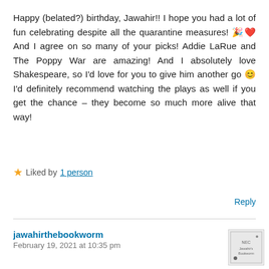Happy (belated?) birthday, Jawahir!! I hope you had a lot of fun celebrating despite all the quarantine measures! 🎉❤️ And I agree on so many of your picks! Addie LaRue and The Poppy War are amazing! And I absolutely love Shakespeare, so I'd love for you to give him another go 😊 I'd definitely recommend watching the plays as well if you get the chance – they become so much more alive that way!
★ Liked by 1 person
Reply
jawahirthebookworm
February 19, 2021 at 10:35 pm